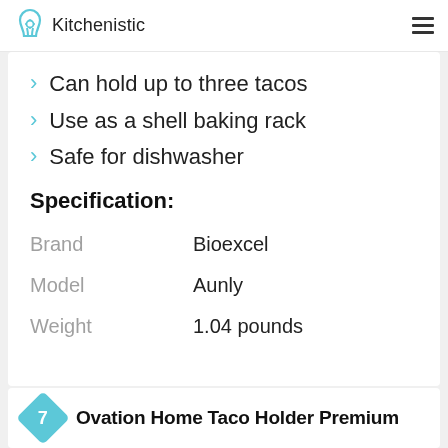Kitchenistic
Can hold up to three tacos
Use as a shell baking rack
Safe for dishwasher
Specification:
|  |  |
| --- | --- |
| Brand | Bioexcel |
| Model | Aunly |
| Weight | 1.04 pounds |
7 Ovation Home Taco Holder Premium